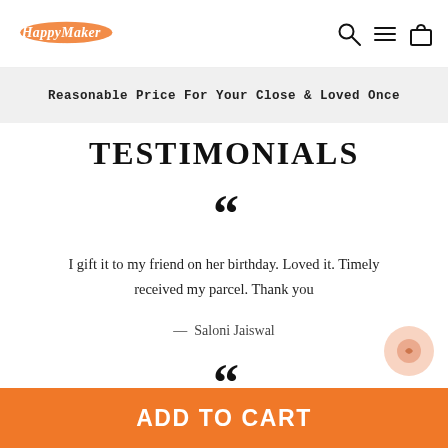HappyMaker
Reasonable Price For Your Close & Loved Once
TESTIMONIALS
““
I gift it to my friend on her birthday. Loved it. Timely received my parcel. Thank you
— Saloni Jaiswal
““
ADD TO CART